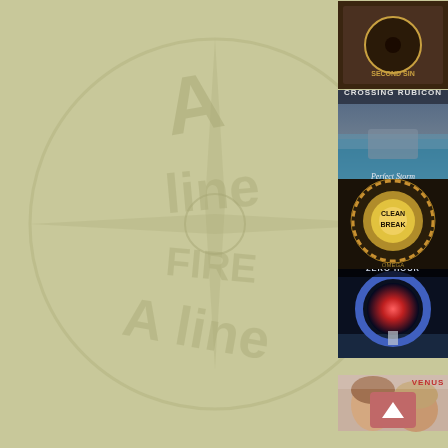[Figure (logo): Heavy Harmonies watermark logo in olive/tan background, circular design with text]
particular World on Fire CD release or compilation is missing from the list above, please submit that CD using the CD submission page. The ultimate goal is to make the discographies here at Heavy Harmonies as complete as possible. Even if it is an obscure greatest-hits or live compilation CD, we want to add it to the site. Please only submit official CD releases; no bootlegs or cassette-only or
[Figure (photo): Album cover - dark circular design, appears to be a band or artist album]
[Figure (photo): Album cover - Crossing Rubicon, Perfect Storm, stormy ocean scene]
[Figure (photo): Album cover - Cleanbreak, circular saw blade design with gold glow]
[Figure (photo): Album cover - Zero Hour, Agenda 2, circular portal/tube in snowy landscape with figure]
[Figure (photo): Album cover - Venus, partial view showing two women]